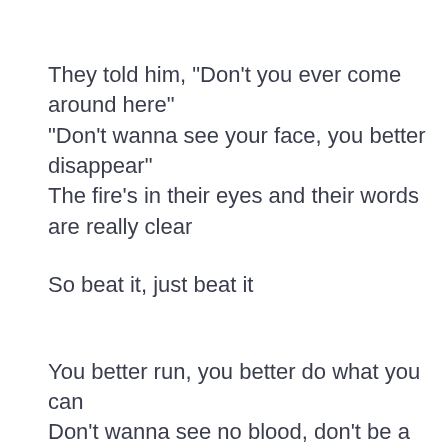They told him, "Don't you ever come around here"
"Don't wanna see your face, you better disappear"
The fire's in their eyes and their words are really clear
So beat it, just beat it
You better run, you better do what you can
Don't wanna see no blood, don't be a macho man
You wanna be tough, better do what you can
So beat it, but you wanna be bad
Just beat it (beat it), beat it (beat it)
No one wants to be defeated